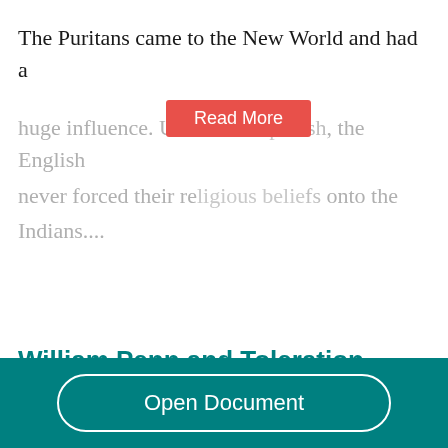The Puritans came to the New World and had a huge influence. Unlike the Spanish, the English never forced their religious beliefs onto the Indians....
[Figure (other): Red 'Read More' button overlaid on faded text]
William Penn and Toleration
300 Words  | 2 Pages
Establishment of freedom of conscience with equal civil rights for all, with no explicitly denominati...
[Figure (other): Teal footer bar with 'Open Document' button]